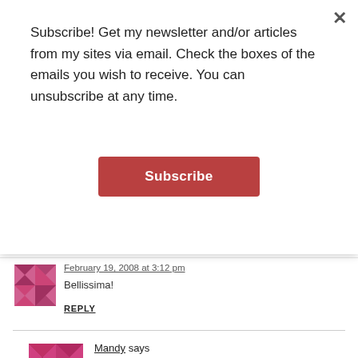Subscribe! Get my newsletter and/or articles from my sites via email. Check the boxes of the emails you wish to receive. You can unsubscribe at any time.
Subscribe
February 19, 2008 at 3:12 pm
Bellissima!
REPLY
Mandy says
February 19, 2008 at 3:18 pm
Chocolate macaron with a PB+Jam filling? That sounds irresistable to me! Can't wait to hear